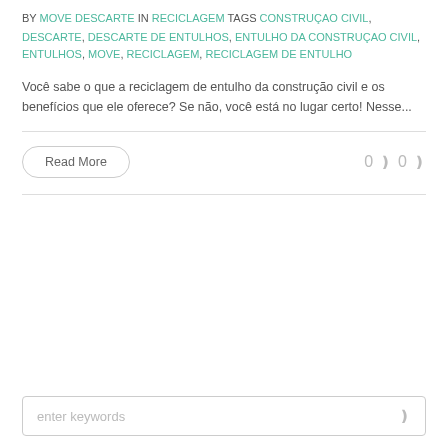BY MOVE DESCARTE IN RECICLAGEM TAGS CONSTRUÇAO CIVIL, DESCARTE, DESCARTE DE ENTULHOS, ENTULHO DA CONSTRUÇAO CIVIL, ENTULHOS, MOVE, RECICLAGEM, RECICLAGEM DE ENTULHO
Você sabe o que a reciclagem de entulho da construção civil e os benefícios que ele oferece? Se não, você está no lugar certo! Nesse...
Read More   0  0
enter keywords